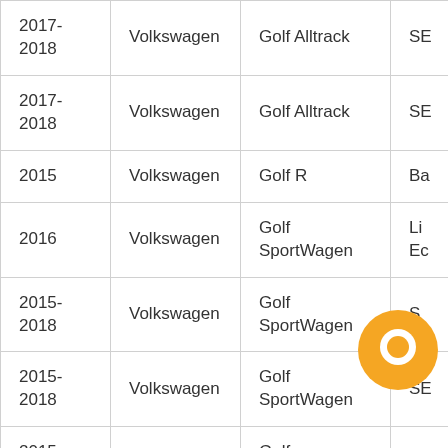| Year | Make | Model | Type |
| --- | --- | --- | --- |
| 2017-2018 | Volkswagen | Golf Alltrack | SE |
| 2017-2018 | Volkswagen | Golf Alltrack | SE |
| 2015 | Volkswagen | Golf R | Ba |
| 2016 | Volkswagen | Golf SportWagen | Li Ec |
| 2015-2018 | Volkswagen | Golf SportWagen | S |
| 2015-2018 | Volkswagen | Golf SportWagen | SE |
| 2015-2018 | Volkswagen | Golf SportWagen | SE |